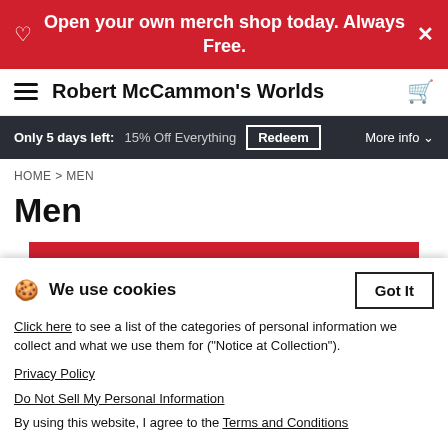Open your own merch shop today. Always Free.
Robert McCammon's Worlds
Only 5 days left: 15% Off Everything  Redeem  More info
HOME > MEN
Men
Filter
Size: 3XL ×  Reset filters
We use cookies  Got It  Click here to see a list of the categories of personal information we collect and what we use them for ("Notice at Collection").  Privacy Policy  Do Not Sell My Personal Information  By using this website, I agree to the Terms and Conditions